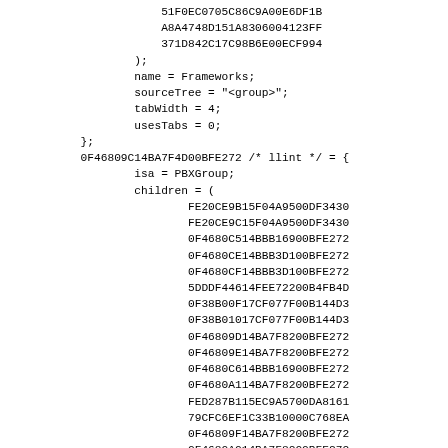51F0EC0705C86C9A00E6DF1B
				A8A4748D151A8306004123FF
				371D842C17C98B6E00ECF994
			);
			name = Frameworks;
			sourceTree = "<group>";
			tabWidth = 4;
			usesTabs = 0;
		};
		0F46809C14BA7F4D00BFE272 /* llint */ = {
				isa = PBXGroup;
				children = (
					FE20CE9B15F04A9500DF3430
					FE20CE9C15F04A9500DF3430
					0F4680C514BBB16900BFE272
					0F4680CE14BBB3D100BFE272
					0F4680CF14BBB3D100BFE272
					5DDDF44614FEE72200B4FB4D
					0F38B00F17CF077F00B144D3
					0F38B01017CF077F00B144D3
					0F46809D14BA7F8200BFE272
					0F46809E14BA7F8200BFE272
					0F4680C614BBB16900BFE272
					0F4680A114BA7F8200BFE272
					FED287B115EC9A5700DA8161
					79CFC6EF1C33B10000C768EA
					0F46809F14BA7F8200BFE272
					0F4680A014BA7F8200BFE272
					0F0B839714BCF45A00885B4F
					0F0B839814BCF45A00885B4F